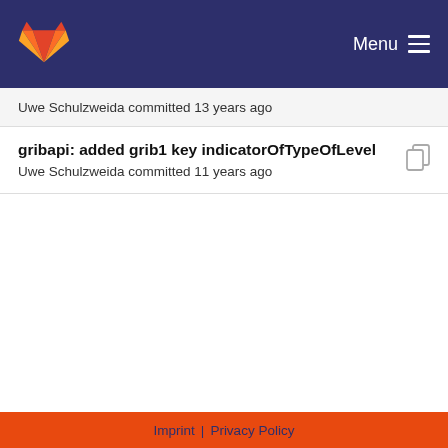Menu
Uwe Schulzweida committed 13 years ago
gribapi: added grib1 key indicatorOfTypeOfLevel
Uwe Schulzweida committed 11 years ago
added gribapi test support
Uwe Schulzweida committed 13 years ago
cgribexDefGrid: added support for generic grid wi...
Uwe Schulzweida committed 12 years ago
Imprint | Privacy Policy